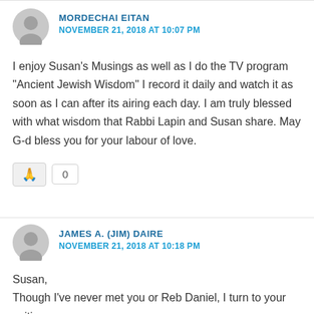MORDECHAI EITAN
NOVEMBER 21, 2018 AT 10:07 PM
I enjoy Susan’s Musings as well as I do the TV program “Ancient Jewish Wisdom” I record it daily and watch it as soon as I can after its airing each day. I am truly blessed with what wisdom that Rabbi Lapin and Susan share. May G-d bless you for your labour of love.
JAMES A. (JIM) DAIRE
NOVEMBER 21, 2018 AT 10:18 PM
Susan,
Though I’ve never met you or Reb Daniel, I turn to your writings